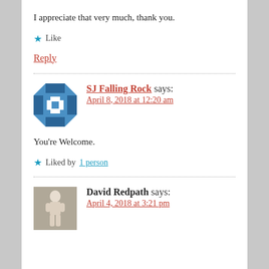I appreciate that very much, thank you.
★ Like
Reply
SJ Falling Rock says:
April 8, 2018 at 12:20 am
You're Welcome.
★ Liked by 1 person
David Redpath says:
April 4, 2018 at 3:21 pm